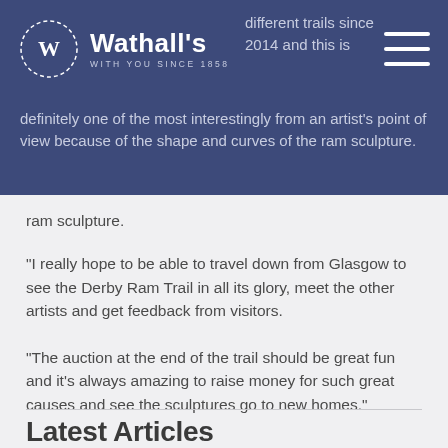[Figure (logo): Wathall's logo with circular wreath around W letter, brand name 'Wathall's' and tagline 'WITH YOU SINCE 1858']
different trails since 2014 and this is definitely one of the most interestingly from an artist's point of view because of the shape and curves of the ram sculpture.
“I really hope to be able to travel down from Glasgow to see the Derby Ram Trail in all its glory, meet the other artists and get feedback from visitors.
“The auction at the end of the trail should be great fun and it’s always amazing to raise money for such great causes and see the sculptures go to new homes.”
Latest Articles